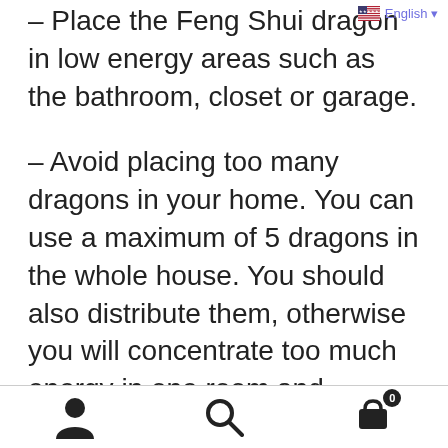Place the Feng Shui dragon in low energy areas such as the bathroom, closet or garage.
– Avoid placing too many dragons in your home. You can use a maximum of 5 dragons in the whole house. You should also distribute them, otherwise you will concentrate too much energy in one room and produce the opposite effect.
– Do not place the dragon too high. Ideally, it should be at the same height as your eyes.
User icon, Search icon, Cart icon with badge 0